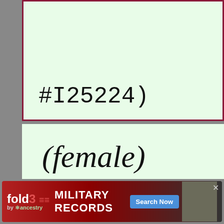#I25224)
(female)
BIRTH: 25 AUG 1823,
[Figure (other): Advertisement banner for fold3 Military Records by Ancestry with Search Now button]